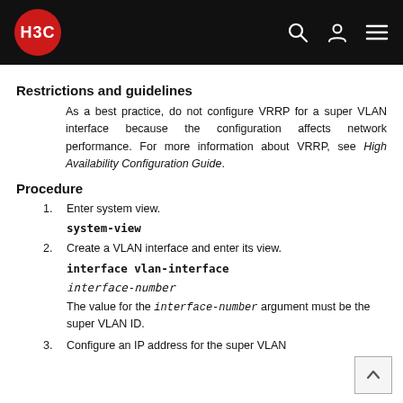H3C
Restrictions and guidelines
As a best practice, do not configure VRRP for a super VLAN interface because the configuration affects network performance. For more information about VRRP, see High Availability Configuration Guide.
Procedure
1. Enter system view.
system-view
2. Create a VLAN interface and enter its view.
interface vlan-interface interface-number
The value for the interface-number argument must be the super VLAN ID.
3. Configure an IP address for the super VLAN